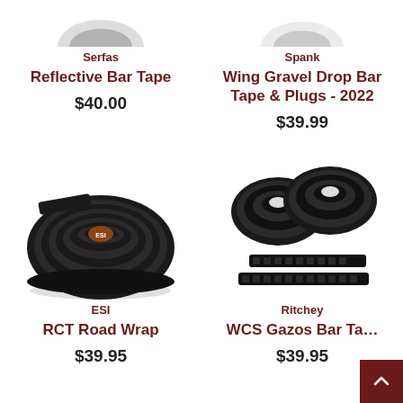[Figure (photo): Partial image of Serfas Reflective Bar Tape product (top cropped)]
Serfas
Reflective Bar Tape
$40.00
[Figure (photo): Partial image of Spank Wing Gravel Drop Bar Tape & Plugs - 2022 product (top cropped)]
Spank
Wing Gravel Drop Bar Tape & Plugs - 2022
$39.99
[Figure (photo): ESI RCT Road Wrap - black coiled handlebar tape roll with ESI logo]
ESI
RCT Road Wrap
$39.95
[Figure (photo): Ritchey WCS Gazos Bar Tape - two black rolls with finishing strips]
Ritchey
WCS Gazos Bar Ta…
$39.95